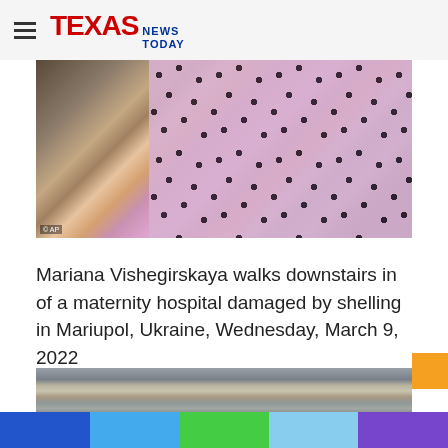TEXAS NEWS TODAY
[Figure (photo): Woman in polka dot dress and plaid blanket walking downstairs in a damaged maternity hospital, Mariupol, Ukraine. AP photo credit visible.]
Mariana Vishegirskaya walks downstairs in of a maternity hospital damaged by shelling in Mariupol, Ukraine, Wednesday, March 9, 2022
[Figure (photo): Smoke rising in front of a damaged multi-story building in Mariupol, Ukraine, with bare trees in the foreground.]